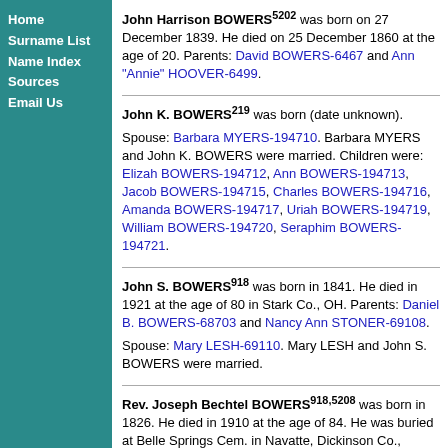Home
Surname List
Name Index
Sources
Email Us
John Harrison BOWERS[5202] was born on 27 December 1839. He died on 25 December 1860 at the age of 20. Parents: David BOWERS-6467 and Ann "Annie" HOOVER-6499.
John K. BOWERS[219] was born (date unknown). Spouse: Barbara MYERS-194710. Barbara MYERS and John K. BOWERS were married. Children were: Elizah BOWERS-194712, Ann BOWERS-194713, Jacob BOWERS-194715, Charles BOWERS-194716, Amanda BOWERS-194717, Uriah BOWERS-194719, William BOWERS-194720, Seraphim BOWERS-194721.
John S. BOWERS[918] was born in 1841. He died in 1921 at the age of 80 in Stark Co., OH. Parents: Daniel B. BOWERS-68703 and Nancy Ann STONER-69108. Spouse: Mary LESH-69110. Mary LESH and John S. BOWERS were married.
Rev. Joseph Bechtel BOWERS[918,5208] was born in 1826. He died in 1910 at the age of 84. He was buried at Belle Springs Cem. in Navatte, Dickinson Co., KS.[918] Parents: Isaac Geissinger BOWERS/BOWER II Jr.-68456 and Elizabeth BECHTEL-68702. Spouse: Mary STONER-17721. Mary STONER and Rev. Joseph Bechtel BOWERS[5212] were married. Children were: